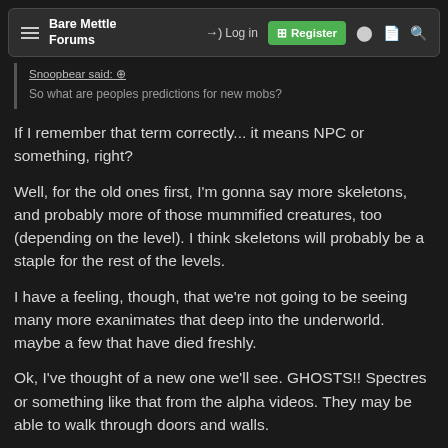Bare Mettle Forums — Log in — Register
Snoopbear said: ↑
So what are peoples predictions for new mobs?
If I remember that term correctly... it means NPC or something, right?
Well, for the old ones first, I'm gonna say more skeletons, and probably more of those mummified creatures, too (depending on the level). I think skeletons will probably be a staple for the rest of the levels.
I have a feeling, though, that we're not going to be seeing many more exanimates that deep into the underworld. maybe a few that have died freshly.
Ok, I've thought of a new one we'll see. GHOSTS!! Spectres or something like that from the alpha videos. They may be able to walk through doors and walls.